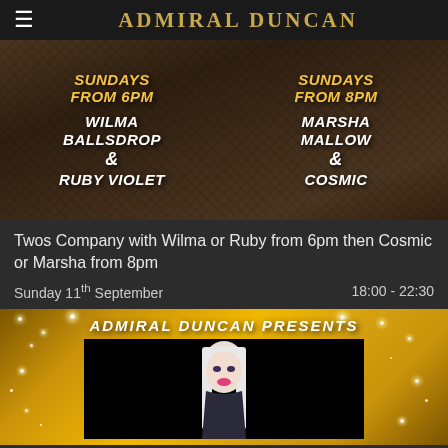ADMIRAL DUNCAN
[Figure (photo): Event poster for Twos Company showing two halves: left side 'Sundays From 6PM Wilma Ballsdrop & Ruby Violet', right side 'Sundays From 8PM Marsha Mallow & Cosmic', on a crumpled brown paper background with gold and white text]
Twos Company with Wilma or Ruby from 6pm then Cosmic or Marsha from 8pm
Sunday 11th September	18:00 - 22:30
[Figure (photo): Admiral Duncan Presents event poster with gold glitter background and a performer with platinum blonde hair and pink lips against a black background]